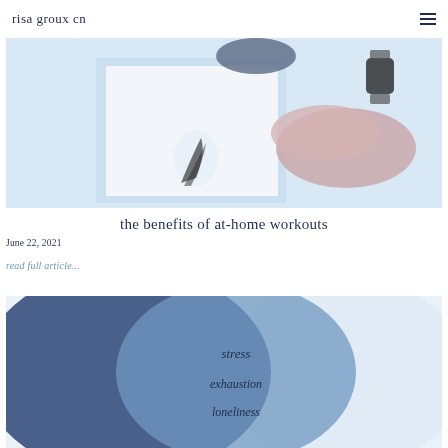risa groux cn
[Figure (photo): Hero image showing workout items: sneakers, smartwatch, exercise equipment on light blue background]
the benefits of at-home workouts
June 22, 2021
read full article...
[Figure (illustration): Venn diagram with overlapping circles in navy and light blue showing words: stress, exhaustion, loneliness]